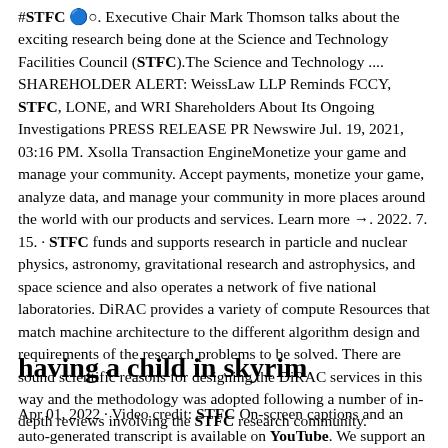#STFC 🔵○. Executive Chair Mark Thomson talks about the exciting research being done at the Science and Technology Facilities Council (STFC).The Science and Technology .... SHAREHOLDER ALERT: WeissLaw LLP Reminds FCCY, STFC, LONE, and WRI Shareholders About Its Ongoing Investigations PRESS RELEASE PR Newswire Jul. 19, 2021, 03:16 PM. Xsolla Transaction EngineMonetize your game and manage your community. Accept payments, monetize your game, analyze data, and manage your community in more places around the world with our products and services. Learn more →. 2022. 7. 15. · STFC funds and supports research in particle and nuclear physics, astronomy, gravitational research and astrophysics, and space science and also operates a network of five national laboratories. DiRAC provides a variety of compute Resources that match machine architecture to the different algorithm design and requirements of the research problems to be solved. There are sound scientific reasons for designing the DiRAC services in this way and the methodology was adopted following a number of in-depth reviews involving the STFC research community.
having a child in skyrim
Apr 01, 2022 · Video credit: STFC On-screen captions and an auto-generated transcript is available on YouTube. We support an